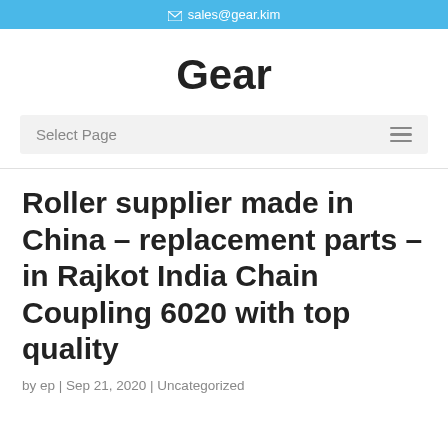sales@gear.kim
Gear
Select Page
Roller supplier made in China – replacement parts – in Rajkot India Chain Coupling 6020 with top quality
by ep | Sep 21, 2020 | Uncategorized